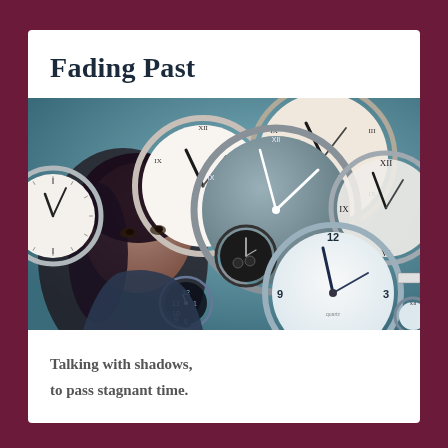Fading Past
[Figure (illustration): A surreal photo illustration of a woman's face surrounded by many overlapping clocks and watches of various styles — analog wall clocks with Roman numerals, modern clocks showing 12, 3, 6, 9, and watch faces — set against a teal/blue background, conveying the theme of time passing.]
Talking with shadows,
to pass stagnant time.